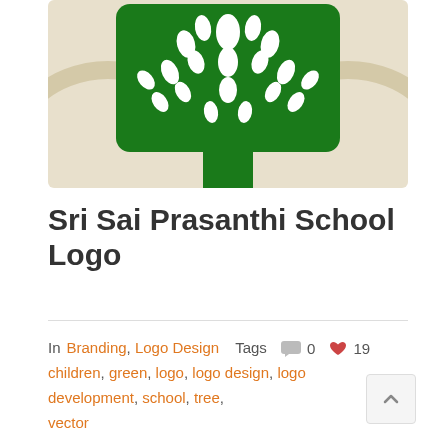[Figure (logo): Sri Sai Prasanthi School logo — dark green mushroom-shaped canopy with white teardrop/leaf shapes representing a tree, on a beige/cream background with circular arc decorations. Green trunk in center.]
Sri Sai Prasanthi School Logo
In Branding, Logo Design  Tags  0  19  children, green, logo, logo design, logo development, school, tree, vector